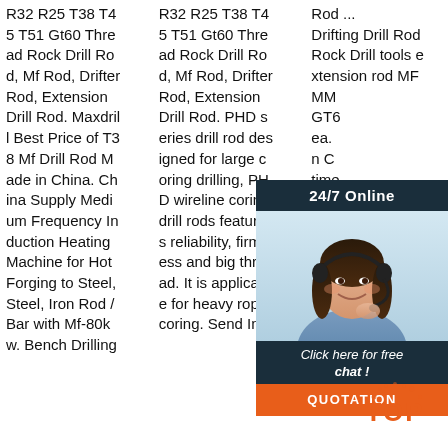R32 R25 T38 T45 T51 Gt60 Thread Rock Drill Rod, Mf Rod, Drifter Rod, Extension Drill Rod. Maxdrill Best Price of T38 Mf Drill Rod Made in China. China Supply Medium Frequency Induction Heating Machine for Hot Forging to Steel, Steel, Iron Rod / Bar with Mf-80kw. Bench Drilling
R32 R25 T38 T45 T51 Gt60 Thread Rock Drill Rod, Mf Rod, Drifter Rod, Extension Drill Rod. PHD series drill rod designed for large coring drilling, PHD wireline coring drill rods features reliability, firmness and big thread. It is applicable for heavy rope coring. Send Inq
Rod ... Drifting Drill Rod Rock Drill tools extension rod MF MM GTo ea. n C time uce nd r ecti n rods are more rigid, heavier and transfer energy more efficiently, while increasing
[Figure (infographic): 24/7 Online chat widget with female agent photo wearing headset, 'Click here for free chat!' text, and orange QUOTATION button]
[Figure (logo): TOP logo badge in orange/red with decorative dots]